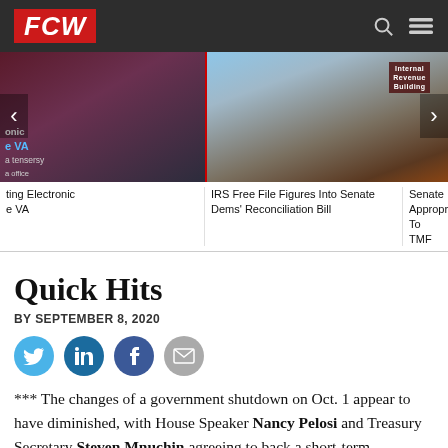FCW
[Figure (photo): Web page screenshot showing a news carousel with three images: a person at VA, IRS building, and Senate appropriations content]
IRS Free File Figures Into Senate Dems' Reconciliation Bill
Senate Appropriations To TMF
Quick Hits
By September 8, 2020
[Figure (infographic): Social share icons: Twitter, LinkedIn, Facebook, Email]
*** The changes of a government shutdown on Oct. 1 appear to have diminished, with House Speaker Nancy Pelosi and Treasury Secretary Steven Mnuchin agreeing to back a short-term continuing resolution to keep the government funded past the